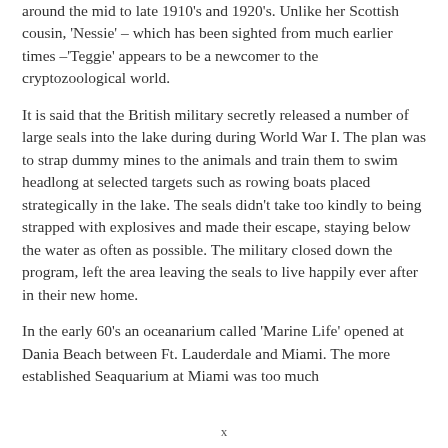around the mid to late 1910's and 1920's. Unlike her Scottish cousin, 'Nessie' – which has been sighted from much earlier times –'Teggie' appears to be a newcomer to the cryptozoological world.
It is said that the British military secretly released a number of large seals into the lake during during World War I. The plan was to strap dummy mines to the animals and train them to swim headlong at selected targets such as rowing boats placed strategically in the lake. The seals didn't take too kindly to being strapped with explosives and made their escape, staying below the water as often as possible. The military closed down the program, left the area leaving the seals to live happily ever after in their new home.
In the early 60's an oceanarium called 'Marine Life' opened at Dania Beach between Ft. Lauderdale and Miami. The more established Seaquarium at Miami was too much
x